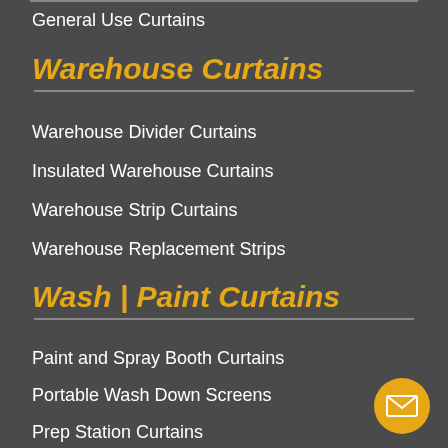General Use Curtains
Warehouse Curtains
Warehouse Divider Curtains
Insulated Warehouse Curtains
Warehouse Strip Curtains
Warehouse Replacement Strips
Wash | Paint Curtains
Paint and Spray Booth Curtains
Portable Wash Down Screens
Prep Station Curtains
Industrial Wash Bay Curtains
USDA Wash Down Curtains